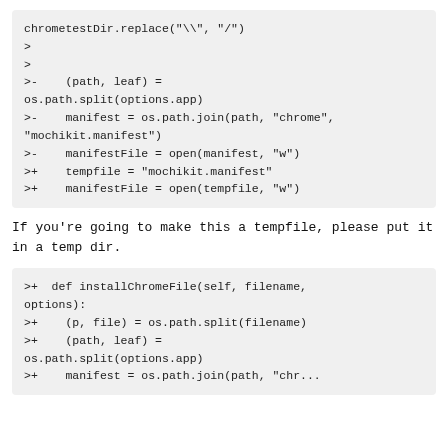[Figure (screenshot): Code diff block showing chrometestDir.replace and path/manifest related lines with >- and >+ diff markers]
If you're going to make this a tempfile, please put it in a temp dir.
[Figure (screenshot): Code diff block showing installChromeFile function definition and os.path.split calls]